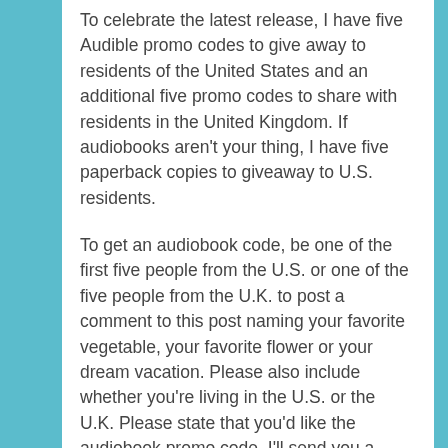To celebrate the latest release, I have five Audible promo codes to give away to residents of the United States and an additional five promo codes to share with residents in the United Kingdom. If audiobooks aren't your thing, I have five paperback copies to giveaway to U.S. residents.
To get an audiobook code, be one of the first five people from the U.S. or one of the five people from the U.K. to post a comment to this post naming your favorite vegetable, your favorite flower or your dream vacation. Please also include whether you're living in the U.S. or the U.K. Please state that you'd like the audiobook promo code. I'll send you a private reply with the promo code.
For the paperback giveaway, be one of the first five people from the U.S. to post a comment about your